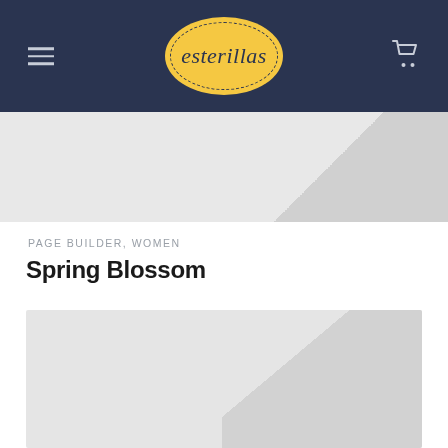esterillas
[Figure (photo): Gray placeholder image with diagonal highlight]
PAGE BUILDER, WOMEN
Spring Blossom
[Figure (photo): Large gray placeholder image with diagonal highlight]